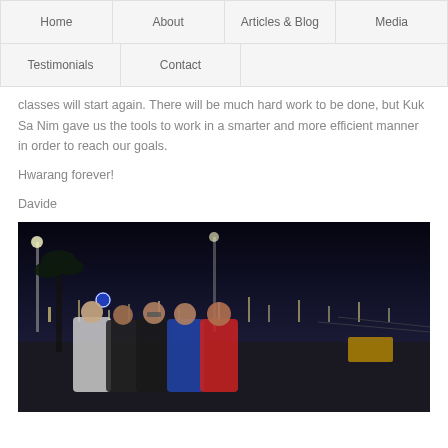Home | About | Articles & Blog | Media | Testimonials | Contact
classes will start again. There will be much hard work to be done, but Kuk Sa Nim gave us the tools to work in a smarter and more efficient manner in order to reach our goals.
Hwarang forever!
Davide
[Figure (photo): Group of five men posing together at night outdoors near a marina or waterfront area. Street lights visible in background. Men wearing various casual clothing including white polo, black t-shirt, black t-shirt with glasses, blue polo, and red t-shirt.]